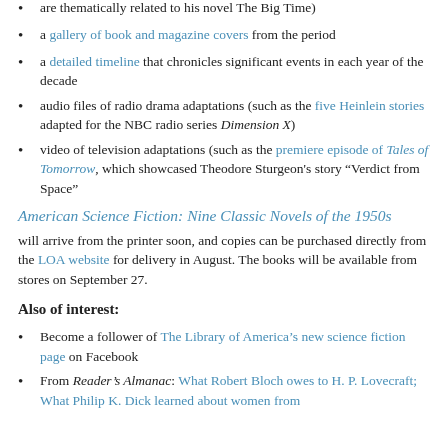are thematically related to his novel The Big Time)
a gallery of book and magazine covers from the period
a detailed timeline that chronicles significant events in each year of the decade
audio files of radio drama adaptations (such as the five Heinlein stories adapted for the NBC radio series Dimension X)
video of television adaptations (such as the premiere episode of Tales of Tomorrow, which showcased Theodore Sturgeon's story “Verdict from Space”
American Science Fiction: Nine Classic Novels of the 1950s
will arrive from the printer soon, and copies can be purchased directly from the LOA website for delivery in August. The books will be available from stores on September 27.
Also of interest:
Become a follower of The Library of America’s new science fiction page on Facebook
From Reader’s Almanac: What Robert Bloch owes to H. P. Lovecraft; What Philip K. Dick learned about women from